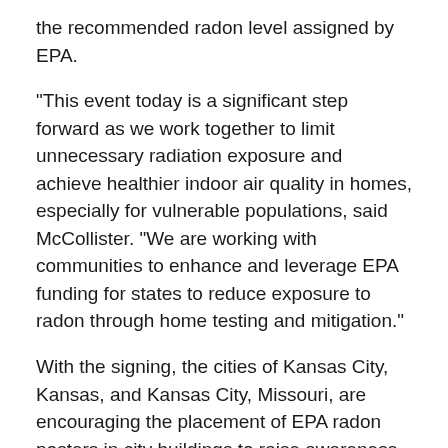the recommended radon level assigned by EPA.
“This event today is a significant step forward as we work together to limit unnecessary radiation exposure and achieve healthier indoor air quality in homes, especially for vulnerable populations, said McCollister. “We are working with communities to enhance and leverage EPA funding for states to reduce exposure to radon through home testing and mitigation.”
With the signing, the cities of Kansas City, Kansas, and Kansas City, Missouri, are encouraging the placement of EPA radon posters in city buildings to raise awareness of the cancer risks of radon exposure.
This partnership also challenges local hospitals and medical health networks in the Kansas City metropolitan area to place EPA radon posters in their medical buildings, waiting rooms, and exam rooms to